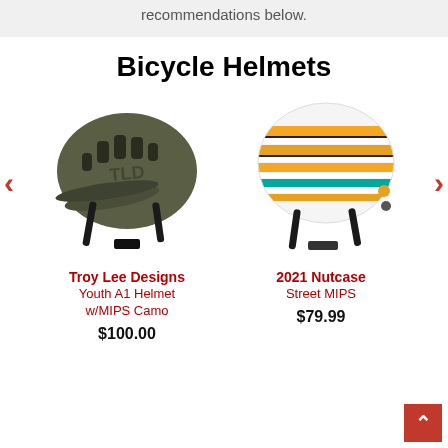recommendations below.
Bicycle Helmets
[Figure (photo): Troy Lee Designs mountain bike helmet in olive/camo color with visor and ventilation]
Troy Lee Designs Youth A1 Helmet w/MIPS Camo $100.00
[Figure (photo): 2021 Nutcase Street MIPS helmet with colorful horizontal stripes in orange, yellow, teal and white]
2021 Nutcase Street MIPS $79.99